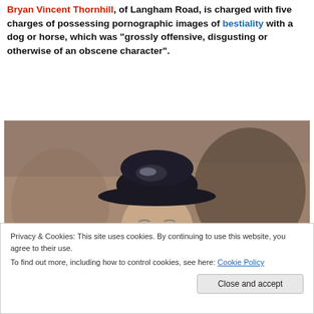Bryan Vincent Thornhill, of Langham Road, is charged with five charges of possessing pornographic images of bestiality with a dog or horse, which was "grossly offensive, disgusting or otherwise of an obscene character".
[Figure (photo): Photo of an elderly man wearing a dark wide-brimmed hat and suit, photographed outdoors near a brick building]
Privacy & Cookies: This site uses cookies. By continuing to use this website, you agree to their use.
To find out more, including how to control cookies, see here: Cookie Policy